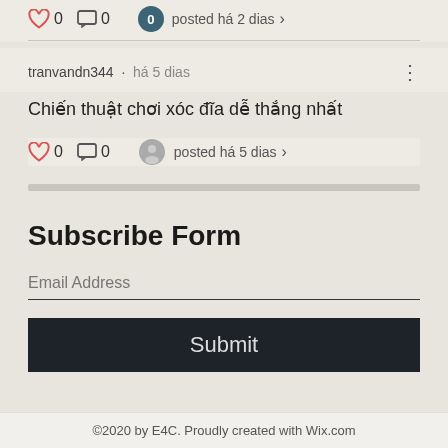♥ 0  💬 0   0  posted há 2 dias ›
tranvandn344 · há 5 dias
Chiến thuật chơi xóc đĩa dễ thắng nhất
♥ 0  💬 0   posted há 5 dias ›
Subscribe Form
Email Address
Submit
©2020 by E4C. Proudly created with Wix.com